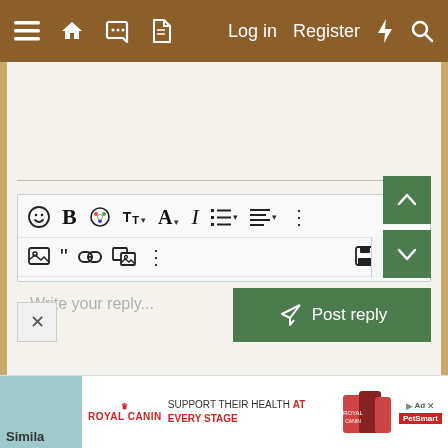[Figure (screenshot): Mobile forum website navigation bar with hamburger menu, home, chat, document icons on left; Log in, Register, lightning bolt, and search icons on right. Brown background.]
[Figure (screenshot): Forum reply text editor box with two toolbars: Row 1 has emoji, bold (B), color palette, font size with dropdown, font color (A) with dropdown, italic (I), list with dropdown, align with dropdown, and more options (⋮). Row 2 has image, quote, link, media upload, more options (⋮), save with dropdown, more options (⋮), and preview button on right side. Below toolbars is placeholder text 'Write your reply...']
Write your reply...
[Figure (screenshot): Green scroll-up arrow button]
[Figure (screenshot): Green scroll-down arrow button]
[Figure (screenshot): Green 'Post reply' button with reply arrow icon]
[Figure (screenshot): Close (X) button in bottom left]
[Figure (screenshot): Royal Canin advertisement banner at bottom: 'SUPPORT THEIR HEALTH AT EVERY STAGE' with cat food product images and PetSmart logo]